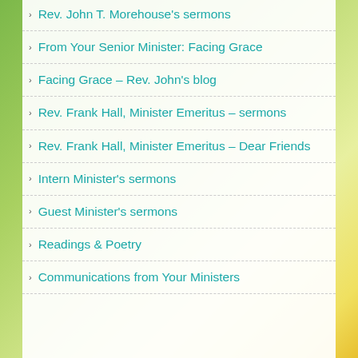Rev. John T. Morehouse's sermons
From Your Senior Minister: Facing Grace
Facing Grace – Rev. John's blog
Rev. Frank Hall, Minister Emeritus – sermons
Rev. Frank Hall, Minister Emeritus – Dear Friends
Intern Minister's sermons
Guest Minister's sermons
Readings & Poetry
Communications from Your Ministers